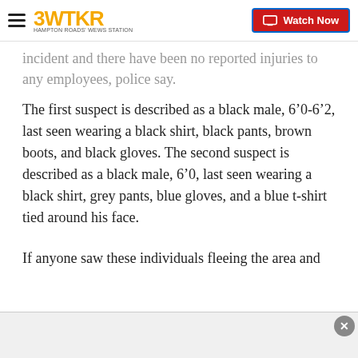3WTKR — Watch Now
incident and there have been no reported injuries to any employees, police say.
The first suspect is described as a black male, 6’0-6’2, last seen wearing a black shirt, black pants, brown boots, and black gloves. The second suspect is described as a black male, 6’0, last seen wearing a black shirt, grey pants, blue gloves, and a blue t-shirt tied around his face.
If anyone saw these individuals fleeing the area and